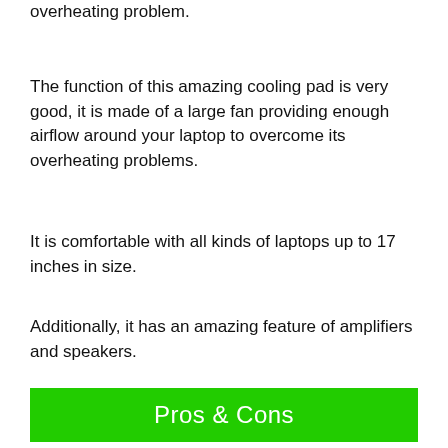overheating problem.
The function of this amazing cooling pad is very good, it is made of a large fan providing enough airflow around your laptop to overcome its overheating problems.
It is comfortable with all kinds of laptops up to 17 inches in size.
Additionally, it has an amazing feature of amplifiers and speakers.
Pros & Cons
[Figure (other): Advertisement banner: Back To School Shopping Deals - Leesburg Premium Outlets]